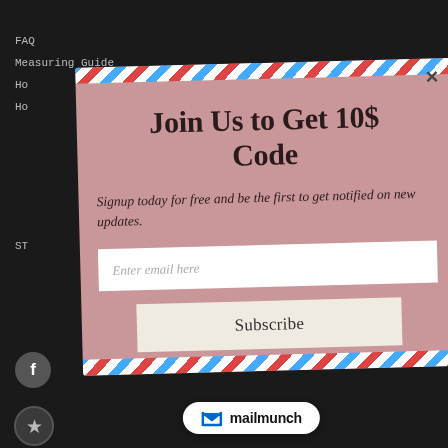FAQ
Measuring Guide
Ho
Ho
[Figure (screenshot): Email signup modal popup with airmail border, pink background, title 'Join Us to Get 10$ Code', subtitle text, email input field, subscribe button, and Mailmunch branding badge at bottom]
Join Us to Get 10$ Code
Signup today for free and be the first to get notified on new updates.
Enter email here
Subscribe
mailmunch